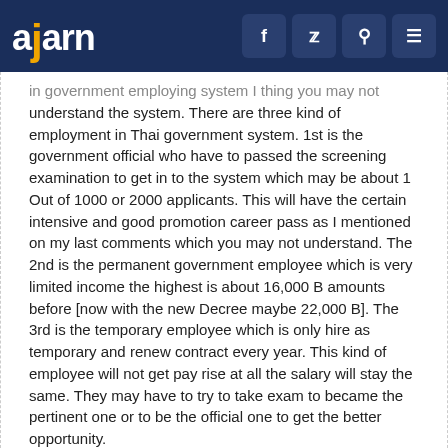ajarn [navigation icons: f, twitter, search, menu]
in government employing system I thing you may not understand the system. There are three kind of employment in Thai government system. 1st is the government official who have to passed the screening examination to get in to the system which may be about 1 Out of 1000 or 2000 applicants. This will have the certain intensive and good promotion career pass as I mentioned on my last comments which you may not understand. The 2nd is the permanent government employee which is very limited income the highest is about 16,000 B amounts before [now with the new Decree maybe 22,000 B]. The 3rd is the temporary employee which is only hire as temporary and renew contract every year. This kind of employee will not get pay rise at all the salary will stay the same. They may have to try to take exam to became the pertinent one or to be the official one to get the better opportunity.